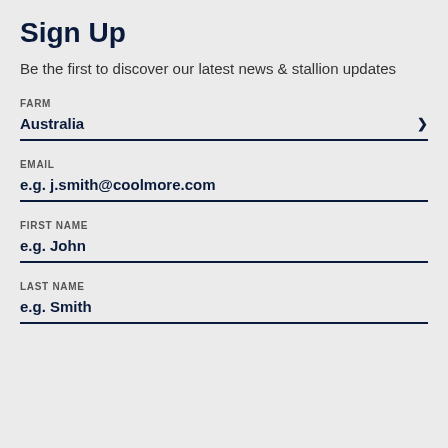Sign Up
Be the first to discover our latest news & stallion updates
FARM
Australia
EMAIL
e.g. j.smith@coolmore.com
FIRST NAME
e.g. John
LAST NAME
e.g. Smith